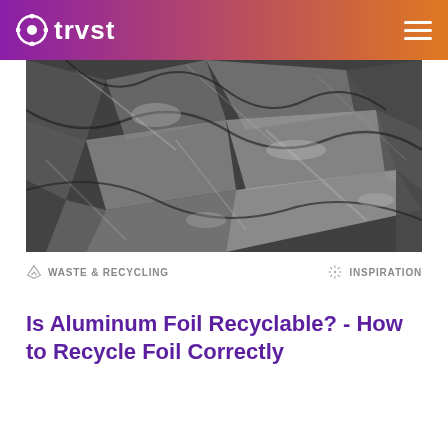trvst
[Figure (photo): Close-up photograph of crumpled aluminum foil in dark gray tones]
WASTE & RECYCLING
INSPIRATION
Is Aluminum Foil Recyclable? - How to Recycle Foil Correctly